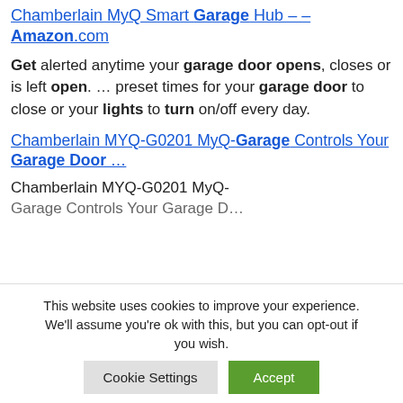Chamberlain MyQ Smart Garage Hub – – Amazon.com
Get alerted anytime your garage door opens, closes or is left open. … preset times for your garage door to close or your lights to turn on/off every day.
Chamberlain MYQ-G0201 MyQ-Garage Controls Your Garage Door …
Chamberlain MYQ-G0201 MyQ-Garage Controls Your Garage D…
This website uses cookies to improve your experience. We'll assume you're ok with this, but you can opt-out if you wish.